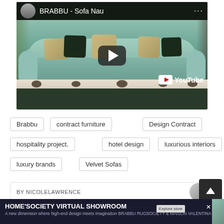[Figure (screenshot): YouTube video thumbnail showing BRABBU - Sofa Nau with a teal velvet sofa with decorative cushions, play button overlay, YouTube logo at bottom right]
Brabbu
contract furniture
Design Contract
hospitality project.
hotel design
luxurious interiors
luxury brands
Velvet Sofas
BY NICOLELAWRENCE
[Figure (screenshot): HOME'SOCIETY VIRTUAL SHOWROOM advertisement banner at bottom of page]